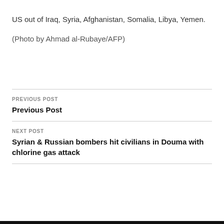US out of Iraq, Syria, Afghanistan, Somalia, Libya, Yemen.
(Photo by Ahmad al-Rubaye/AFP)
PREVIOUS POST
Previous Post
NEXT POST
Syrian & Russian bombers hit civilians in Douma with chlorine gas attack